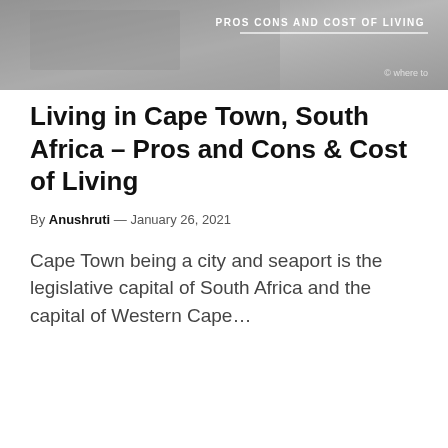[Figure (photo): Header image showing Cape Town scenery with overlay text 'PROS CONS AND COST OF LIVING' and watermark 'where to']
Living in Cape Town, South Africa – Pros and Cons & Cost of Living
By Anushruti — January 26, 2021
Cape Town being a city and seaport is the legislative capital of South Africa and the capital of Western Cape...